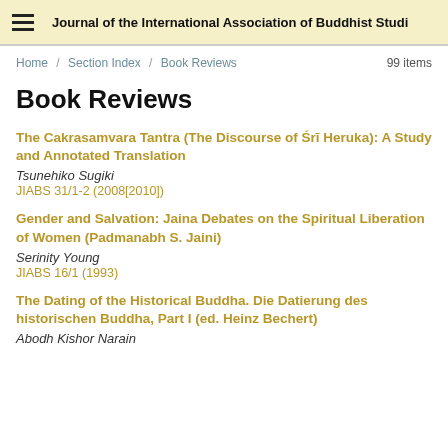Journal of the International Association of Buddhist Studi
Home / Section Index / Book Reviews  99 items
Book Reviews
The Cakrasamvara Tantra (The Discourse of Śrī Heruka): A Study and Annotated Translation
Tsunehiko Sugiki
JIABS 31/1-2 (2008[2010])
Gender and Salvation: Jaina Debates on the Spiritual Liberation of Women (Padmanabh S. Jaini)
Serinity Young
JIABS 16/1 (1993)
The Dating of the Historical Buddha. Die Datierung des historischen Buddha, Part I (ed. Heinz Bechert)
Abodh Kishor Narain